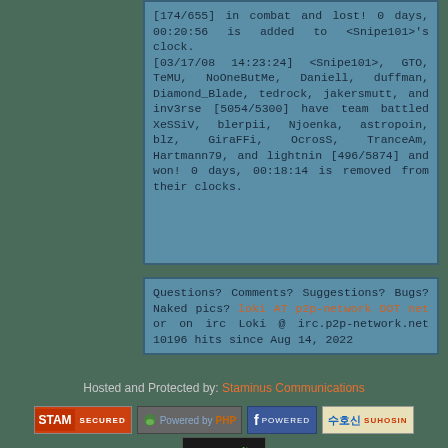[174/655] in combat and lost! 0 days, 00:20:56 is added to <Snipe101>'s clock. [03/17/08 14:23:24] <Snipe101>, GTO, TeMU, NoOneButMe, Daniell, duffman, Diamond_Blade, tedrock, jakersmutt, and inv3rse [5054/5300] have team battled XeSSiV, blerpii, Njoenka, astropoin, blz, GiraFFi, OcrosS, TranceAm, Hartmann79, and lightnin [496/5874] and won! 0 days, 00:18:14 is removed from their clocks.
Questions? Comments? Suggestions? Bugs? Naked pics? loki AT p2p-network DOT net or on irc Loki @ irc.p2p-network.net 10196 hits since Aug 14, 2022
Hosted and Protected by: Staminus Communications
[Figure (logo): STAM SECURED badge]
[Figure (logo): Powered by PHP badge with leaf icon]
[Figure (logo): Facebook Powered badge]
[Figure (logo): Suhosin badge with Korean text]
[Figure (logo): grsecurity badge]